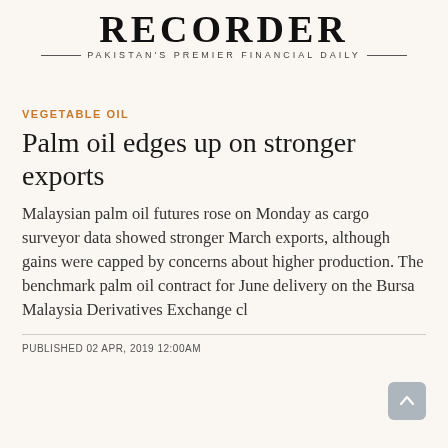RECORDER — PAKISTAN'S PREMIER FINANCIAL DAILY —
VEGETABLE OIL
Palm oil edges up on stronger exports
Malaysian palm oil futures rose on Monday as cargo surveyor data showed stronger March exports, although gains were capped by concerns about higher production. The benchmark palm oil contract for June delivery on the Bursa Malaysia Derivatives Exchange cl
PUBLISHED 02 APR, 2019 12:00AM